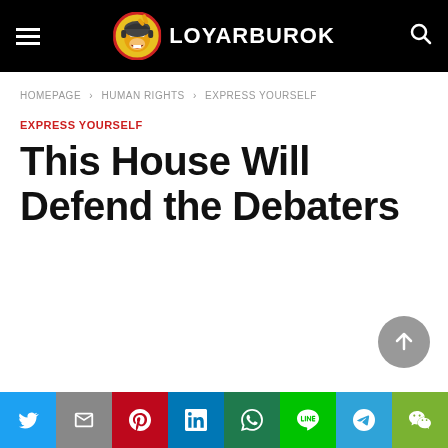LOYARBUROK
HOMEPAGE > HUMAN RIGHTS > EXPRESS YOURSELF
EXPRESS YOURSELF
This House Will Defend the Debaters